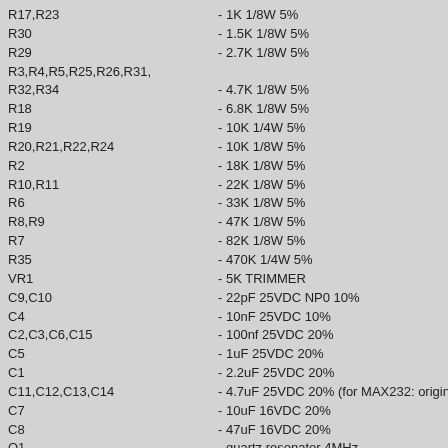R17,R23    - 1K 1/8W 5%
R30    - 1.5K 1/8W 5%
R29    - 2.7K 1/8W 5%
R3,R4,R5,R25,R26,R31,
R32,R34    - 4.7K 1/8W 5%
R18    - 6.8K 1/8W 5%
R19    - 10K 1/4W 5%
R20,R21,R22,R24    - 10K 1/8W 5%
R2    - 18K 1/8W 5%
R10,R11    - 22K 1/8W 5%
R6    - 33K 1/8W 5%
R8,R9    - 47K 1/8W 5%
R7    - 82K 1/8W 5%
R35    - 470K 1/4W 5%
VR1    - 5K TRIMMER
C9,C10    - 22pF 25VDC NP0 10%
C4    - 10nF 25VDC 10%
C2,C3,C6,C15    - 100nf 25VDC 20%
C5    - 1uF 25VDC 20%
C1    - 2.2uF 25VDC 20%
C11,C12,C13,C14    - 4.7uF 25VDC 20% (for MAX232: originally 1uF)
C7    - 10uF 16VDC 20%
C8    - 47uF 16VDC 20%
Q1    - quartz resonator 4MHz
L1    - green LED 3 mm
L2    - red LED3 mm
D5    - 1N4004 (or 1N4001)